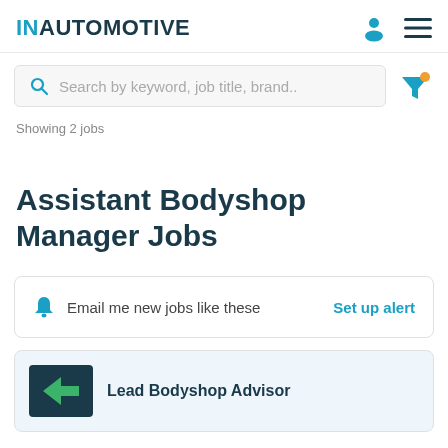IN AUTOMOTIVE
Search by keyword, job title, brand..
Showing 2 jobs
Assistant Bodyshop Manager Jobs
Email me new jobs like these  Set up alert
Lead Bodyshop Advisor